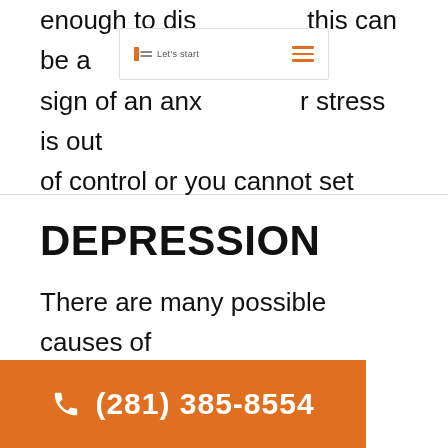enough to dis[...] this can be a sign of an anx[...] r stress is out of control or you cannot set aside a worry, counseling appointments are available.
[Figure (screenshot): Navigation bar with logo and hamburger menu icon in orange]
DEPRESSION
There are many possible causes of depression – biological, psychological, social and more. If you have persistent feelings of sadn[...] d thera[...]
(281) 385-8554